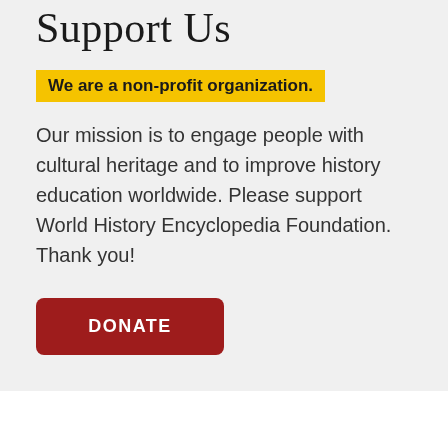Support Us
We are a non-profit organization.
Our mission is to engage people with cultural heritage and to improve history education worldwide. Please support World History Encyclopedia Foundation. Thank you!
DONATE